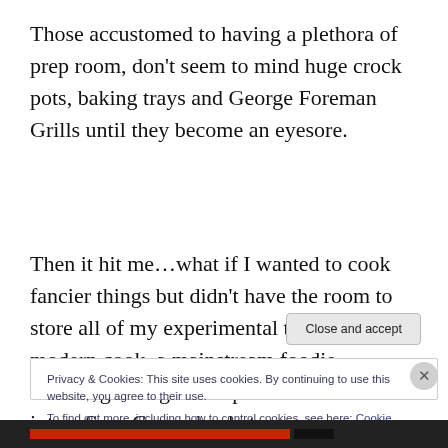Those accustomed to having a plethora of prep room, don't seem to mind huge crock pots, baking trays and George Foreman Grills until they become an eyesore.
Then it hit me…what if I wanted to cook fancier things but didn't have the room to store all of my experimental tools? The modern cook, a mainstream foodie, watching enough food porn to wack-off into a Sour Cream bucket
Privacy & Cookies: This site uses cookies. By continuing to use this website, you agree to their use.
To find out more, including how to control cookies, see here: Cookie Policy